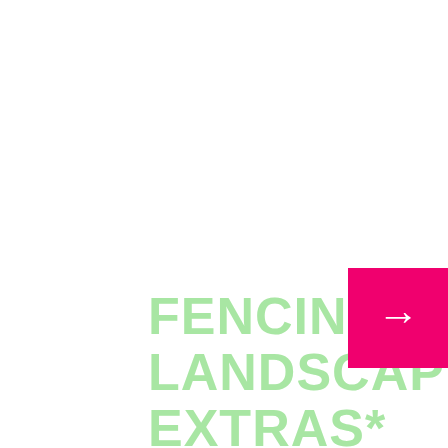FENCING & LANDSCAPING EXTRAS*
[Figure (infographic): Hot pink/magenta square button with a white right-pointing arrow, positioned at the right edge of the page]